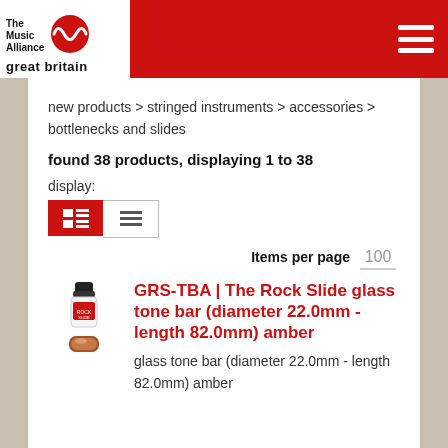[Figure (logo): The Music Alliance great britain logo with red wave symbol on white background, red header bar with hamburger menu icon]
new products > stringed instruments > accessories > bottlenecks and slides
found 38 products, displaying 1 to 38
display:
Items per page  100
[Figure (photo): Glass tone bar amber product photo - small bottle-shaped cap on top and amber/brown cylindrical glass tone bar below]
GRS-TBA | The Rock Slide glass tone bar (diameter 22.0mm - length 82.0mm) amber
glass tone bar (diameter 22.0mm - length 82.0mm) amber